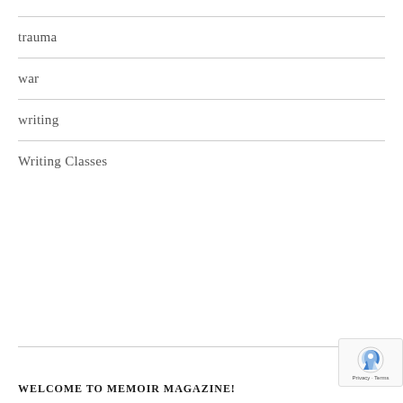trauma
war
writing
Writing Classes
WELCOME TO MEMOIR MAGAZINE!